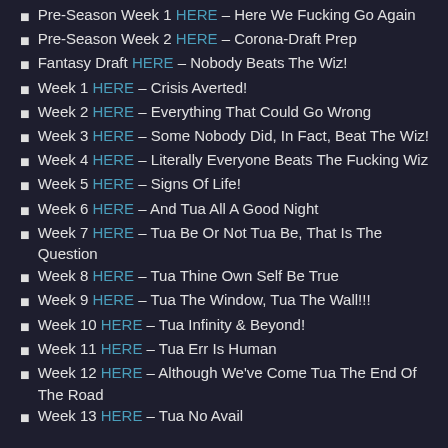Pre-Season Week 1 HERE – Here We Fucking Go Again
Pre-Season Week 2 HERE – Corona-Draft Prep
Fantasy Draft HERE – Nobody Beats The Wiz!
Week 1 HERE – Crisis Averted!
Week 2 HERE – Everything That Could Go Wrong
Week 3 HERE – Some Nobody Did, In Fact, Beat The Wiz!
Week 4 HERE – Literally Everyone Beats The Fucking Wiz
Week 5 HERE – Signs Of Life!
Week 6 HERE – And Tua All A Good Night
Week 7 HERE – Tua Be Or Not Tua Be, That Is The Question
Week 8 HERE – Tua Thine Own Self Be True
Week 9 HERE – Tua The Window, Tua The Wall!!!
Week 10 HERE – Tua Infinity & Beyond!
Week 11 HERE – Tua Err Is Human
Week 12 HERE – Although We've Come Tua The End Of The Road
Week 13 HERE – Tua No Avail